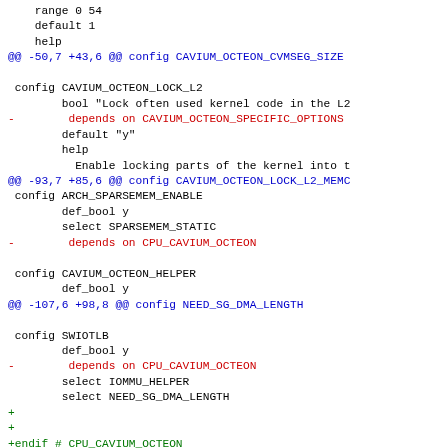diff/patch code showing kernel config changes for Cavium Octeon platform